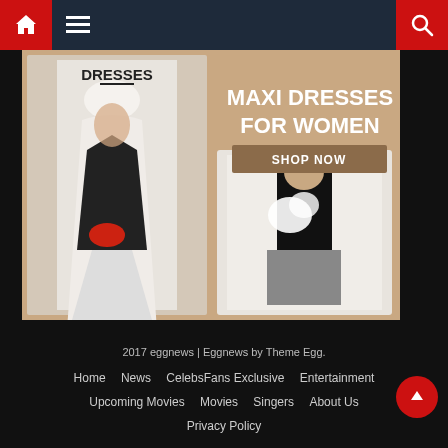eggnews navigation bar with home, menu, and search icons
[Figure (advertisement): Fashion advertisement banner for 'Maxi Dresses for Women' showing two women in maxi dresses on a tan/brown background with 'DRESSES' text on left, large heading 'MAXI DRESSES FOR WOMEN' and a 'SHOP NOW' button on the right]
2017 eggnews | Eggnews by Theme Egg. Home | News | CelebsFans Exclusive | Entertainment | Upcoming Movies | Movies | Singers | About Us | Privacy Policy